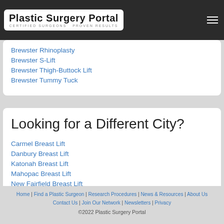Plastic Surgery Portal — CERTIFIED SURGEONS PROVEN RESULTS
Brewster Rhinoplasty
Brewster S-Lift
Brewster Thigh-Buttock Lift
Brewster Tummy Tuck
Looking for a Different City?
Carmel Breast Lift
Danbury Breast Lift
Katonah Breast Lift
Mahopac Breast Lift
New Fairfield Breast Lift
Ridgefield Breast Lift
Home | Find a Plastic Surgeon | Research Procedures | News & Resources | About Us | Contact Us | Join Our Network | Newsletters | Privacy
©2022 Plastic Surgery Portal